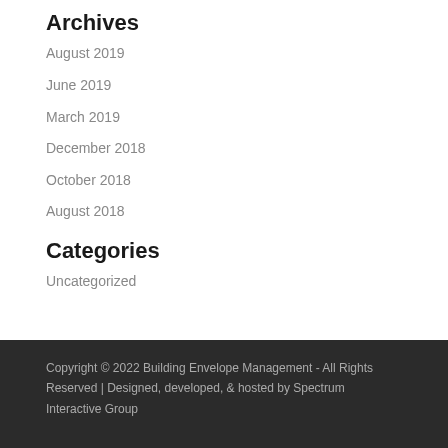Archives
August 2019
June 2019
March 2019
December 2018
October 2018
August 2018
Categories
Uncategorized
Copyright © 2022 Building Envelope Management - All Rights Reserved | Designed, developed, & hosted by Spectrum Interactive Group